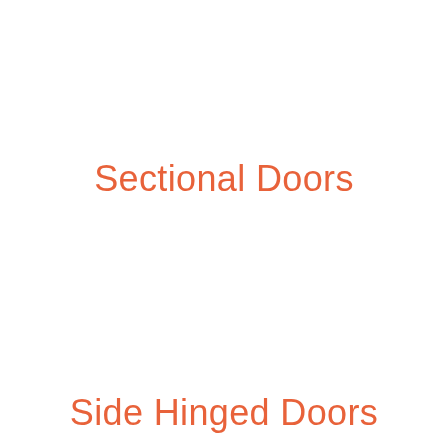Sectional Doors
Side Hinged Doors